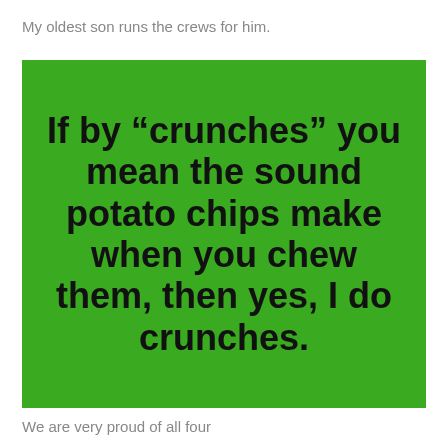My oldest son runs the crews for him.
[Figure (other): Green background meme image with bold black text reading: If by “crunches” you mean the sound potato chips make when you chew them, then yes, I do crunches.]
We are very proud of all four